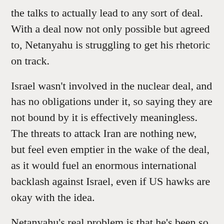the talks to actually lead to any sort of deal. With a deal now not only possible but agreed to, Netanyahu is struggling to get his rhetoric on track.
Israel wasn't involved in the nuclear deal, and has no obligations under it, so saying they are not bound by it is effectively meaningless. The threats to attack Iran are nothing new, but feel even emptier in the wake of the deal, as it would fuel an enormous international backlash against Israel, even if US hawks are okay with the idea.
Netanyahu's real problem is that he's been so alarmist against the deal for so long, and insisted he would never allow it to be signed, that the fact that it finally happened has the rest of the Israeli far-right portraying him as a failure, and Netanyahu's claims the deal is an historic disaster has put that disaster in